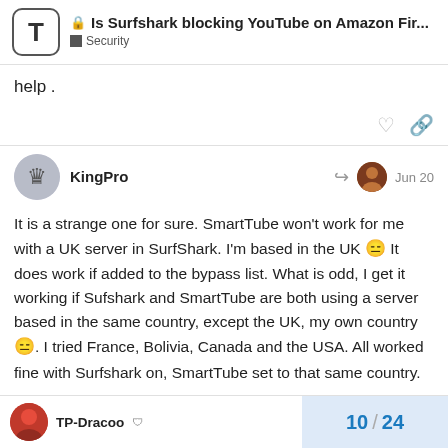Is Surfshark blocking YouTube on Amazon Fir... | Security
help .
KingPro  Jun 20
It is a strange one for sure. SmartTube won't work for me with a UK server in SurfShark. I'm based in the UK 😑 It does work if added to the bypass list. What is odd, I get it working if Sufshark and SmartTube are both using a server based in the same country, except the UK, my own country 😑. I tried France, Bolivia, Canada and the USA. All worked fine with Surfshark on, SmartTube set to that same country.
TP-Dracoo  10 / 24